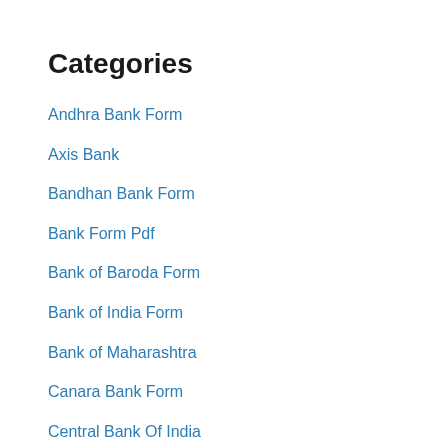Categories
Andhra Bank Form
Axis Bank
Bandhan Bank Form
Bank Form Pdf
Bank of Baroda Form
Bank of India Form
Bank of Maharashtra
Canara Bank Form
Central Bank Of India
HDFC Bank Form